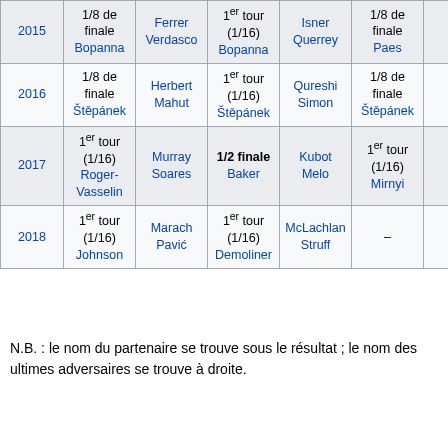| Year | Result1 | Partner1 | Result2 | Opponent2 | Result3 | Partner3 | Result4 |
| --- | --- | --- | --- | --- | --- | --- | --- |
| 2015 | 1/8 de finale
Bopanna | Ferrer
Verdasco | 1er tour (1/16)
Bopanna | Isner
Querrey | 1/8 de finale
Paes |  |  |
| 2016 | 1/8 de finale
Štěpánek | Herbert
Mahut | 1er tour (1/16)
Štěpánek | Qureshi
Simon | 1/8 de finale
Štěpánek |  |  |
| 2017 | 1er tour (1/16)
Roger-Vasselin | Murray
Soares | 1/2 finale
Baker | Kubot
Melo | 1er tour (1/16)
Mirnyi |  |  |
| 2018 | 1er tour (1/16)
Johnson | Marach
Pavić | 1er tour (1/16)
Demoliner | McLachlan
Struff | – |  |  |
N.B. : le nom du partenaire se trouve sous le résultat ; le nom des ultimes adversaires se trouve à droite.